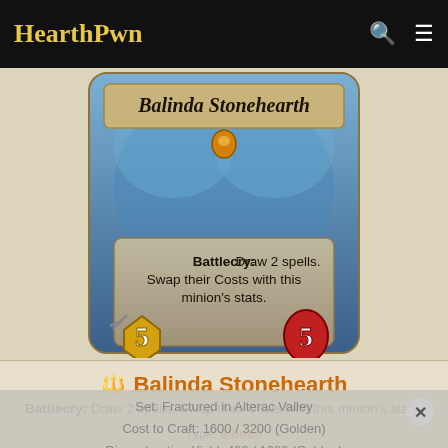HearthPwn
[Figure (screenshot): Hearthstone card image showing Balinda Stonehearth, a Mage legendary minion card with 5 attack and 5 health. The card text reads: Battlecry: Draw 2 spells. Swap their Costs with this minion's stats.]
Balinda Stonehearth
Battlecry: Draw 2 spells. Swap their Costs with this minion's stats.
Type: Minion
Class: Mage
Rarity: Legendary
Set: Fractured in Alterac Valley
Cost to Craft: 1600 / 3200 (Golden)
Disenchanting Yield: 400 / 1600 (Golden)